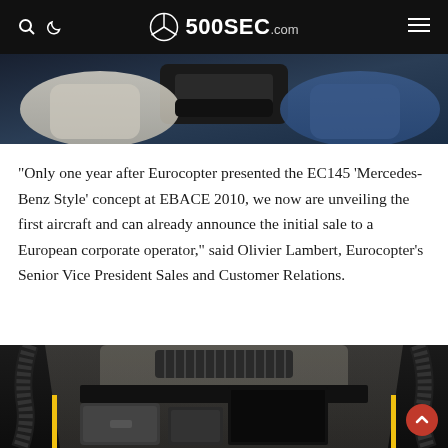500SEC.com
[Figure (photo): Interior view of EC145 Mercedes-Benz Style helicopter cabin showing luxury white seats and blue accents]
“Only one year after Eurocopter presented the EC145 ‘Mercedes-Benz Style’ concept at EBACE 2010, we now are unveiling the first aircraft and can already announce the initial sale to a European corporate operator,” said Olivier Lambert, Eurocopter’s Senior Vice President Sales and Customer Relations.
[Figure (photo): Interior view of EC145 Mercedes-Benz Style helicopter luggage compartment showing bags and storage area with white cream interior panels]